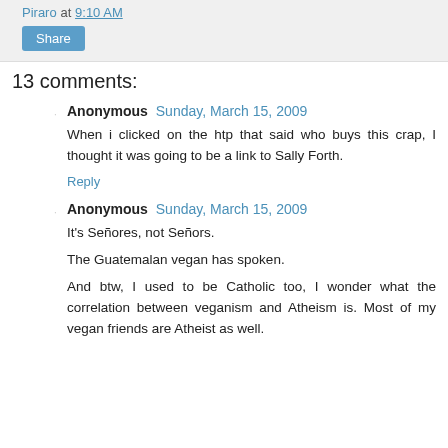Piraro at 9:10 AM
Share
13 comments:
Anonymous  Sunday, March 15, 2009
When i clicked on the htp that said who buys this crap, I thought it was going to be a link to Sally Forth.
Reply
Anonymous  Sunday, March 15, 2009
It's Señores, not Señors.
The Guatemalan vegan has spoken.
And btw, I used to be Catholic too, I wonder what the correlation between veganism and Atheism is. Most of my vegan friends are Atheist as well.